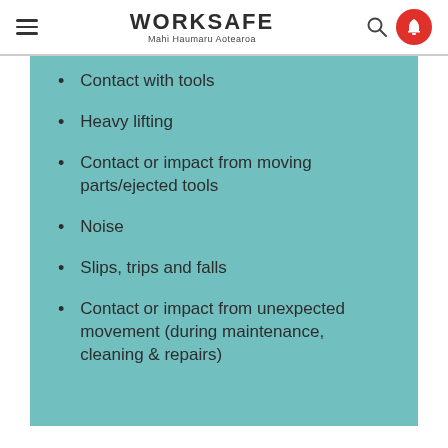WORKSAFE Mahi Haumaru Aotearoa
Contact with tools
Heavy lifting
Contact or impact from moving parts/ejected tools
Noise
Slips, trips and falls
Contact or impact from unexpected movement (during maintenance, cleaning & repairs)